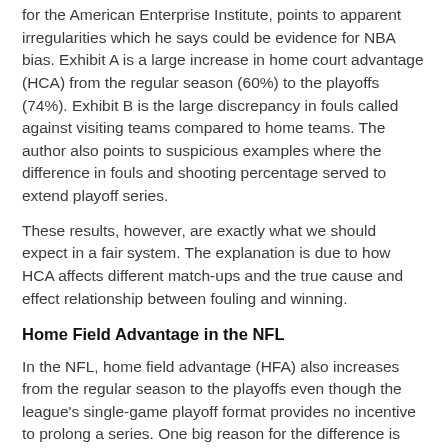for the American Enterprise Institute, points to apparent irregularities which he says could be evidence for NBA bias. Exhibit A is a large increase in home court advantage (HCA) from the regular season (60%) to the playoffs (74%). Exhibit B is the large discrepancy in fouls called against visiting teams compared to home teams. The author also points to suspicious examples where the difference in fouls and shooting percentage served to extend playoff series.
These results, however, are exactly what we should expect in a fair system. The explanation is due to how HCA affects different match-ups and the true cause and effect relationship between fouling and winning.
Home Field Advantage in the NFL
In the NFL, home field advantage (HFA) also increases from the regular season to the playoffs even though the league's single-game playoff format provides no incentive to prolong a series. One big reason for the difference is due to the relative strength of opponents.